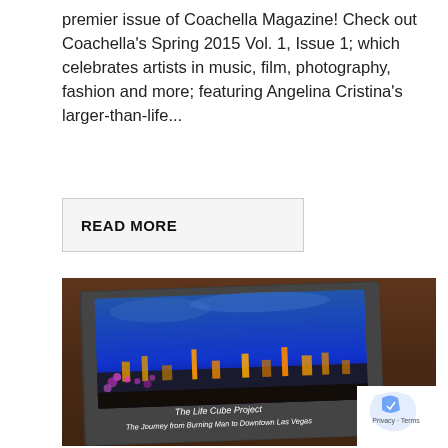premier issue of Coachella Magazine! Check out Coachella's Spring 2015 Vol. 1, Issue 1; which celebrates artists in music, film, photography, fashion and more; featuring Angelina Cristina's larger-than-life...
READ MORE
[Figure (photo): A hardcover photo book titled 'The Life Cube Project – The Journey from Burning Man to Downtown Las Vegas' lying on a wooden surface. The book cover shows a nighttime cityscape with colorful lights under a blue twilight sky.]